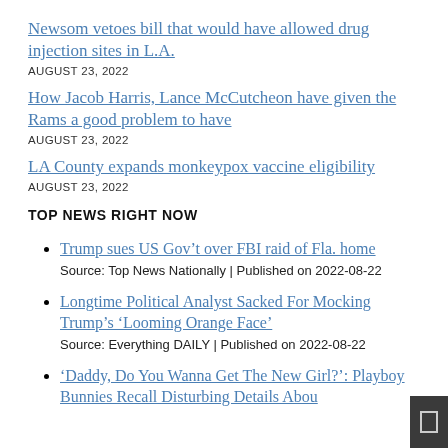Newsom vetoes bill that would have allowed drug injection sites in L.A.
AUGUST 23, 2022
How Jacob Harris, Lance McCutcheon have given the Rams a good problem to have
AUGUST 23, 2022
LA County expands monkeypox vaccine eligibility
AUGUST 23, 2022
TOP NEWS RIGHT NOW
Trump sues US Gov't over FBI raid of Fla. home
Source: Top News Nationally | Published on 2022-08-22
Longtime Political Analyst Sacked For Mocking Trump's ‘Looming Orange Face’
Source: Everything DAILY | Published on 2022-08-22
'Daddy, Do You Wanna Get The New Girl?': Playboy Bunnies Recall Disturbing Details Abou